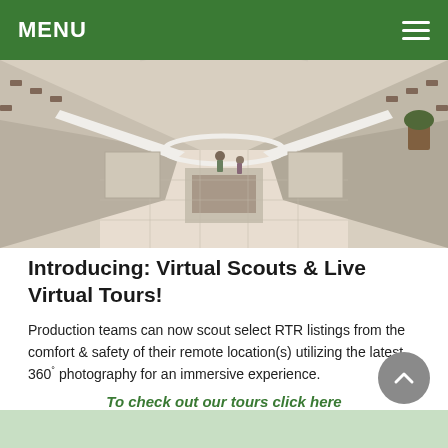MENU
[Figure (photo): Interior of a shopping mall with escalators, upper and lower floors, people walking, store fronts visible]
Introducing: Virtual Scouts & Live Virtual Tours!
Production teams can now scout select RTR listings from the comfort & safety of their remote location(s) utilizing the latest 360° photography for an immersive experience.
To check out our tours click here or learn about these amazing new features by clicking below
View More »